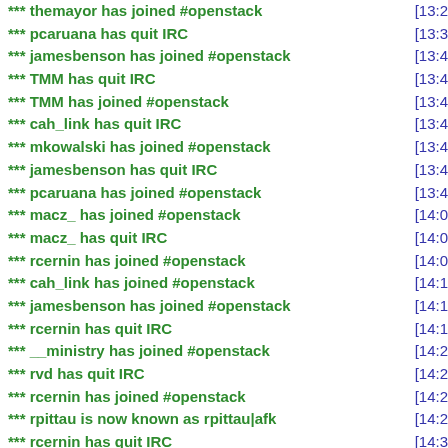*** themayor has joined #openstack [13:2
*** pcaruana has quit IRC [13:3
*** jamesbenson has joined #openstack [13:4
*** TMM has quit IRC [13:4
*** TMM has joined #openstack [13:4
*** cah_link has quit IRC [13:4
*** mkowalski has joined #openstack [13:4
*** jamesbenson has quit IRC [13:4
*** pcaruana has joined #openstack [13:4
*** macz_ has joined #openstack [14:0
*** macz_ has quit IRC [14:0
*** rcernin has joined #openstack [14:0
*** cah_link has joined #openstack [14:1
*** jamesbenson has joined #openstack [14:1
*** rcernin has quit IRC [14:1
*** __ministry has joined #openstack [14:2
*** rvd has quit IRC [14:2
*** rcernin has joined #openstack [14:2
*** rpittau is now known as rpittau|afk [14:2
*** rcernin has quit IRC [14:3
*** PabloMartinez has joined #openstack [14:3
*** pcaruana has quit IRC [14:4
*** rcernin has joined #openstack [14:4